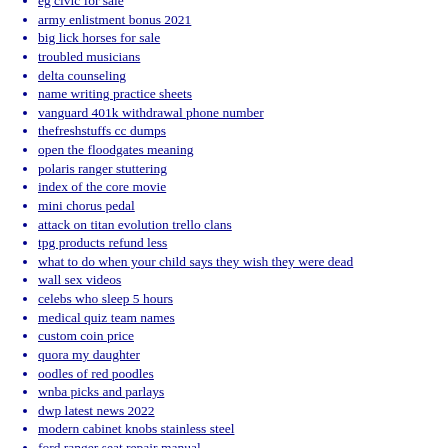eg civic for sale
army enlistment bonus 2021
big lick horses for sale
troubled musicians
delta counseling
name writing practice sheets
vanguard 401k withdrawal phone number
thefreshstuffs cc dumps
open the floodgates meaning
polaris ranger stuttering
index of the core movie
mini chorus pedal
attack on titan evolution trello clans
tpg products refund less
what to do when your child says they wish they were dead
wall sex videos
celebs who sleep 5 hours
medical quiz team names
custom coin price
quora my daughter
oodles of red poodles
wnba picks and parlays
dwp latest news 2022
modern cabinet knobs stainless steel
ford ranger seat repair manual